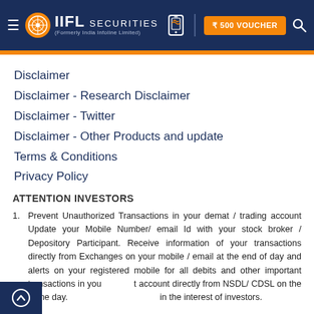IIFL Securities (Formerly India Infoline Limited) — ₹500 VOUCHER
Disclaimer
Disclaimer - Research Disclaimer
Disclaimer - Twitter
Disclaimer - Other Products and update
Terms & Conditions
Privacy Policy
Sitemap
ATTENTION INVESTORS
Prevent Unauthorized Transactions in your demat / trading account Update your Mobile Number/ email Id with your stock broker / Depository Participant. Receive information of your transactions directly from Exchanges on your mobile / email at the end of day and alerts on your registered mobile for all debits and other important transactions in your demat account directly from NSDL/ CDSL on the same day. as mandated by SEBI. KYC is one time exercise while dealing in securities markets - once KYC is done through a SEBI registered intermediary (broker, DP, Mutual Fund etc.), you need not undergo the same process again when you approach another intermediary. in the interest of investors.